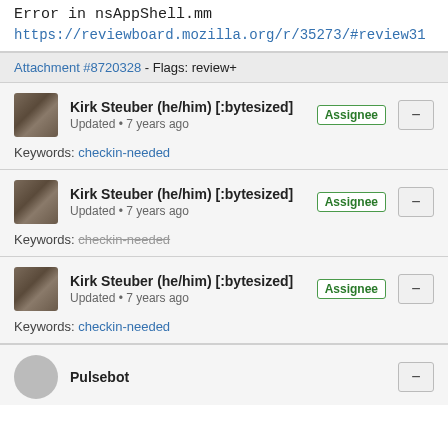Error in nsAppShell.mm
https://reviewboard.mozilla.org/r/35273/#review3...
Attachment #8720328 - Flags: review+
Kirk Steuber (he/him) [:bytesized] Assignee
Updated • 7 years ago
Keywords: checkin-needed
Kirk Steuber (he/him) [:bytesized] Assignee
Updated • 7 years ago
Keywords: checkin-needed (strikethrough)
Kirk Steuber (he/him) [:bytesized] Assignee
Updated • 7 years ago
Keywords: checkin-needed
Pulsebot